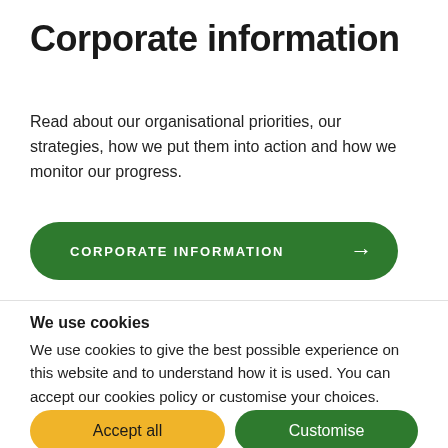Corporate information
Read about our organisational priorities, our strategies, how we put them into action and how we monitor our progress.
CORPORATE INFORMATION →
We use cookies
We use cookies to give the best possible experience on this website and to understand how it is used. You can accept our cookies policy or customise your choices.
Accept all
Customise
Deny